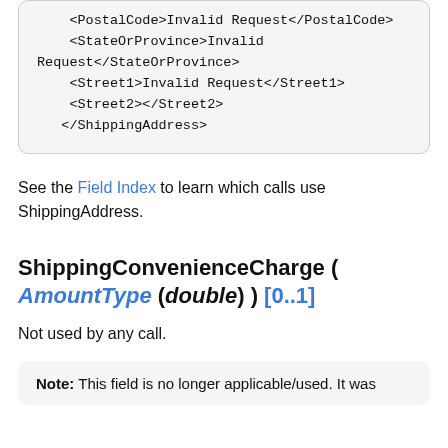<PostalCode>Invalid Request</PostalCode>
    <StateOrProvince>Invalid Request</StateOrProvince>
    <Street1>Invalid Request</Street1>
    <Street2></Street2>
</ShippingAddress>
See the Field Index to learn which calls use ShippingAddress.
ShippingConvenienceCharge ( AmountType (double) ) [0..1]
Not used by any call.
Note: This field is no longer applicable/used. It was